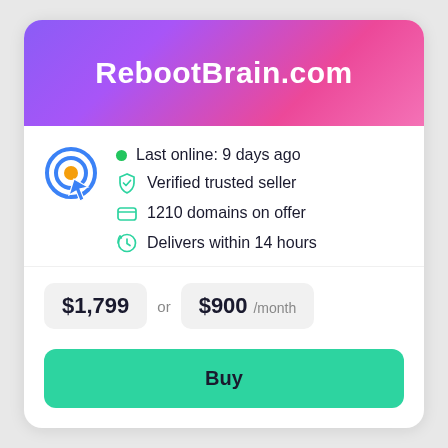RebootBrain.com
Last online: 9 days ago
Verified trusted seller
1210 domains on offer
Delivers within 14 hours
$1,799 or $900 /month
Buy